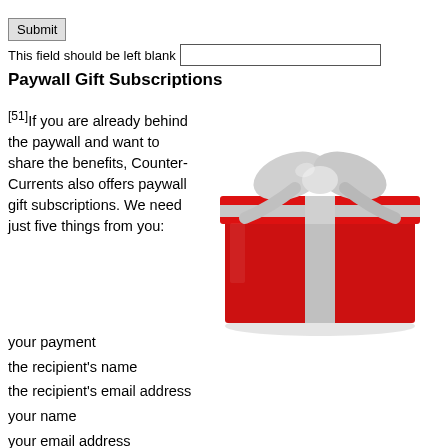Submit
This field should be left blank
Paywall Gift Subscriptions
[51]If you are already behind the paywall and want to share the benefits, Counter-Currents also offers paywall gift subscriptions. We need just five things from you:
[Figure (photo): A red gift box with a silver ribbon and bow on a white background.]
your payment
the recipient's name
the recipient's email address
your name
your email address